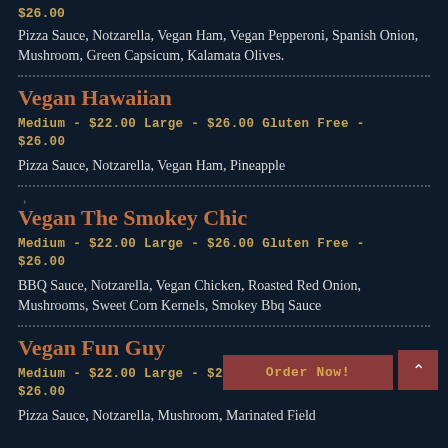$26.00
Pizza Sauce, Notzarella, Vegan Ham, Vegan Pepperoni, Spanish Onion, Mushroom, Green Capsicum, Kalamata Olives.
Vegan Hawaiian
Medium - $22.00 Large - $26.00 Gluten Free - $26.00
Pizza Sauce, Notzarella, Vegan Ham, Pineapple
Vegan The Smokey Chic
Medium - $22.00 Large - $26.00 Gluten Free - $26.00
BBQ Sauce, Notzarella, Vegan Chicken, Roasted Red Onion, Mushrooms, Sweet Corn Kernels, Smokey Bbq Sauce
Vegan Fun Guy
Medium - $22.00 Large - $26.00 Gluten Free - $26.00
Pizza Sauce, Notzarella, Mushroom, Marinated Field